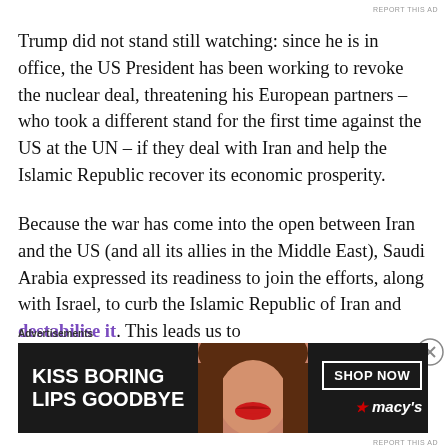REPORT THIS AD
Trump did not stand still watching: since he is in office, the US President has been working to revoke the nuclear deal, threatening his European partners – who took a different stand for the first time against the US at the UN – if they deal with Iran and help the Islamic Republic recover its economic prosperity.
Because the war has come into the open between Iran and the US (and all its allies in the Middle East), Saudi Arabia expressed its readiness to join the efforts, along with Israel, to curb the Islamic Republic of Iran and destabilise it. This leads us to
Advertisements
[Figure (photo): Advertisement banner for Macy's: 'KISS BORING LIPS GOODBYE' with SHOP NOW button and Macy's star logo, dark background with woman's face.]
REPORT THIS AD